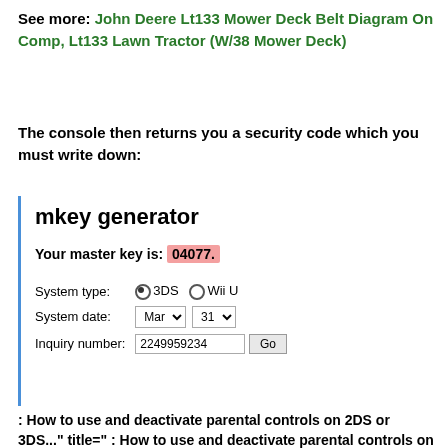See more: John Deere Lt133 Mower Deck Belt Diagram On Comp, Lt133 Lawn Tractor (W/38 Mower Deck)
The console then returns you a security code which you must write down:
[Figure (screenshot): Screenshot of mkey generator tool showing: title 'mkey generator', master key result 'Your master key is: 04077.' (highlighted in pink/red), and form fields for System type (3DS selected, Wii U option), System date (Mar, 31 dropdowns), Inquiry number (2249959234) with Go button.]
: How to use and deactivate parental controls on 2DS or 3DS..." title=" : How to use and deactivate parental controls on 2DS or 3DS..."/>